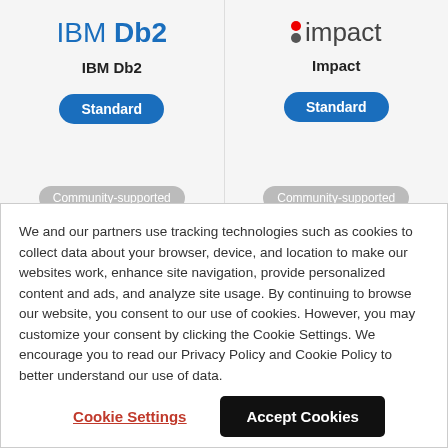[Figure (logo): IBM Db2 logo in blue with bold Db2 text, and label 'IBM Db2' below, with Standard badge and Community-supported pill]
[Figure (logo): Impact logo with traffic light icon, and label 'Impact' below, with Standard badge and Community-supported pill]
We and our partners use tracking technologies such as cookies to collect data about your browser, device, and location to make our websites work, enhance site navigation, provide personalized content and ads, and analyze site usage. By continuing to browse our website, you consent to our use of cookies. However, you may customize your consent by clicking the Cookie Settings. We encourage you to read our Privacy Policy and Cookie Policy to better understand our use of data.
Cookie Settings
Accept Cookies